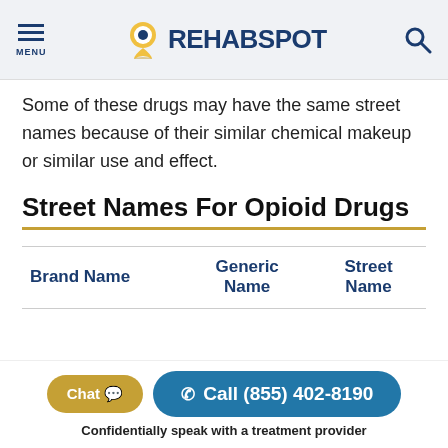MENU | REHABSPOT | Search
Some of these drugs may have the same street names because of their similar chemical makeup or similar use and effect.
Street Names For Opioid Drugs
| Brand Name | Generic Name | Street Name |
| --- | --- | --- |
Chat | Call (855) 402-8190 | Confidentially speak with a treatment provider